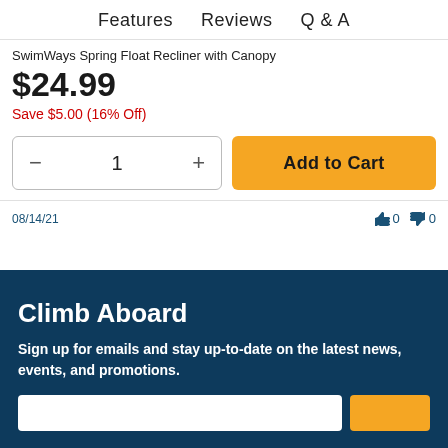Features   Reviews   Q & A
SwimWays Spring Float Recliner with Canopy
$24.99
Save $5.00 (16% Off)
1  Add to Cart
08/14/21
Climb Aboard
Sign up for emails and stay up-to-date on the latest news, events, and promotions.